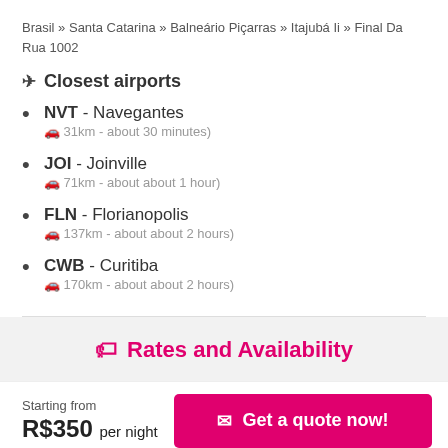Brasil » Santa Catarina » Balneário Piçarras » Itajubá Ii » Final Da Rua 1002
✈ Closest airports
NVT - Navegantes
(🚗 31km - about 30 minutes)
JOI - Joinville
(🚗 71km - about about 1 hour)
FLN - Florianopolis
(🚗 137km - about about 2 hours)
CWB - Curitiba
(🚗 170km - about about 2 hours)
Rates and Availability
Starting from
R$350 per night
Get a quote now!